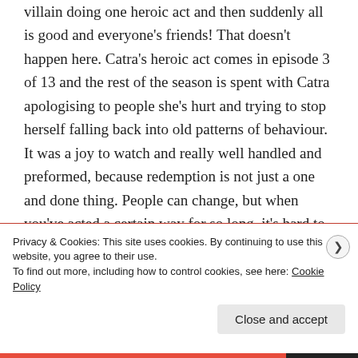villain doing one heroic act and then suddenly all is good and everyone's friends! That doesn't happen here. Catra's heroic act comes in episode 3 of 13 and the rest of the season is spent with Catra apologising to people she's hurt and trying to stop herself falling back into old patterns of behaviour. It was a joy to watch and really well handled and preformed, because redemption is not just a one and done thing. People can change, but when you've acted a certain way for so long, it's hard to
Privacy & Cookies: This site uses cookies. By continuing to use this website, you agree to their use.
To find out more, including how to control cookies, see here: Cookie Policy
Close and accept